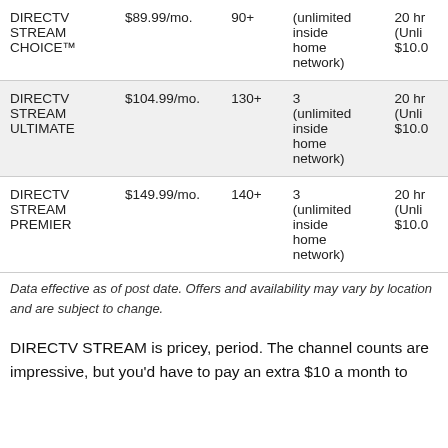| Plan | Price | Channels | Streams | DVR |
| --- | --- | --- | --- | --- |
| DIRECTV STREAM CHOICE™ | $89.99/mo. | 90+ | 3 (unlimited inside home network) | 20 hr (Unli $10.0 |
| DIRECTV STREAM ULTIMATE | $104.99/mo. | 130+ | 3 (unlimited inside home network) | 20 hr (Unli $10.0 |
| DIRECTV STREAM PREMIER | $149.99/mo. | 140+ | 3 (unlimited inside home network) | 20 hr (Unli $10.0 |
Data effective as of post date. Offers and availability may vary by location and are subject to change.
DIRECTV STREAM is pricey, period. The channel counts are impressive, but you'd have to pay an extra $10 a month to